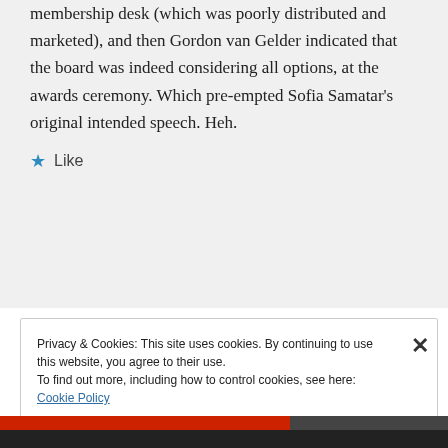membership desk (which was poorly distributed and marketed), and then Gordon van Gelder indicated that the board was indeed considering all options, at the awards ceremony. Which pre-empted Sofia Samatar's original intended speech. Heh.
★ Like
Privacy & Cookies: This site uses cookies. By continuing to use this website, you agree to their use. To find out more, including how to control cookies, see here: Cookie Policy
Close and accept